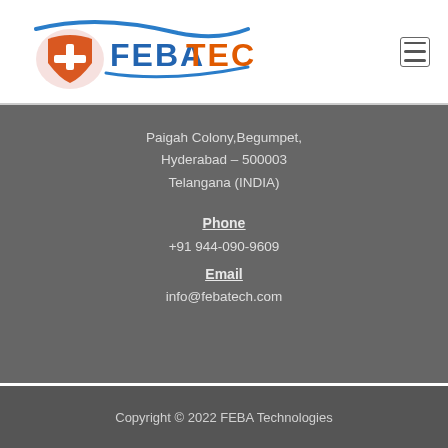[Figure (logo): FEBA TECH company logo with swoosh design and orange/blue text]
Paigah Colony,Begumpet,
Hyderabad – 500003
Telangana (INDIA)
Phone
+91 944-090-9609
Email
info@febatech.com
Copyright © 2022 FEBA Technologies